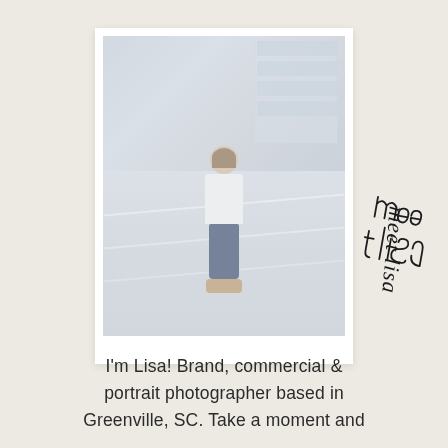[Figure (photo): Polaroid-style photo of a woman (Lisa) sitting on steps outside a modern building. She is wearing a white top and dark jeans, smiling at the camera. The background shows a contemporary building facade with large windows.]
meet lisa
I'm Lisa! Brand, commercial & portrait photographer based in Greenville, SC. Take a moment and